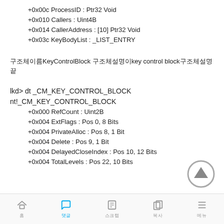+0x00c ProcessID       : Ptr32 Void
+0x010 Callers         : Uint4B
+0x014 CallerAddress   : [10] Ptr32 Void
+0x03c KeyBodyList     : _LIST_ENTRY
구조체이름KeyControlBlock 구조체설명이key control block구조체설명끝
lkd> dt _CM_KEY_CONTROL_BLOCK
nt!_CM_KEY_CONTROL_BLOCK
+0x000 RefCount        : Uint2B
+0x004 ExtFlags        : Pos 0, 8 Bits
+0x004 PrivateAlloc    : Pos 8, 1 Bit
+0x004 Delete          : Pos 9, 1 Bit
+0x004 DelayedCloseIndex : Pos 10, 12 Bits
+0x004 TotalLevels     : Pos 22, 10 Bits
홈 | 댓글 | 스크랩 | 복사 | 메뉴